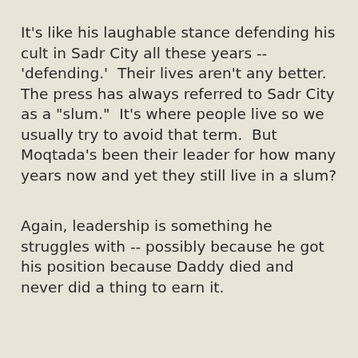It's like his laughable stance defending his cult in Sadr City all these years -- 'defending.'  Their lives aren't any better.  The press has always referred to Sadr City as a "slum."  It's where people live so we usually try to avoid that term.  But Moqtada's been their leader for how many years now and yet they still live in a slum?
Again, leadership is something he struggles with -- possibly because he got his position because Daddy died and never did a thing to earn it.
Leadership would also require defending Iraq's sovereignty and Mustafa's not up for that either.  That's why foreign troops remain on the ground in Iraq.  It's why Turkey gets away with bombing the Kurdistan Region, with terrorizing villagers there, with sending ground troops in.